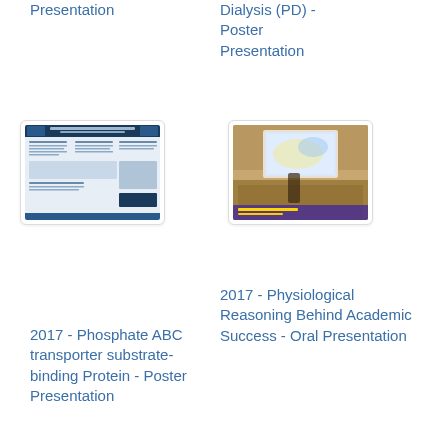Presentation
Dialysis (PD) - Poster Presentation
[Figure (photo): Thumbnail image of a research poster on Phosphate ABC transporter substrate-binding Protein]
[Figure (photo): Thumbnail image of an oral presentation slide/video screenshot]
2017 - Phosphate ABC transporter substrate-binding Protein - Poster Presentation
2017 - Physiological Reasoning Behind Academic Success - Oral Presentation